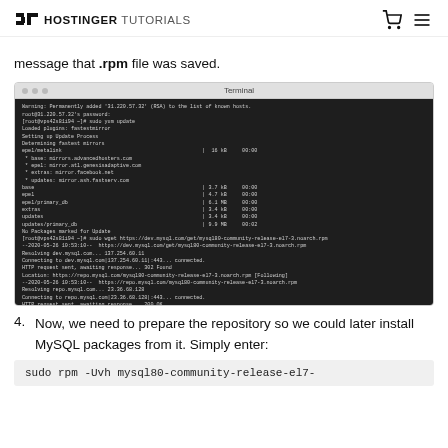HOSTINGER TUTORIALS
message that .rpm file was saved.
[Figure (screenshot): Terminal screenshot showing wget command downloading mysql80-community-release-el7-3.noarch.rpm, with progress bar and final saved confirmation line.]
4. Now, we need to prepare the repository so we could later install MySQL packages from it. Simply enter:
sudo rpm -Uvh mysql80-community-release-el7-